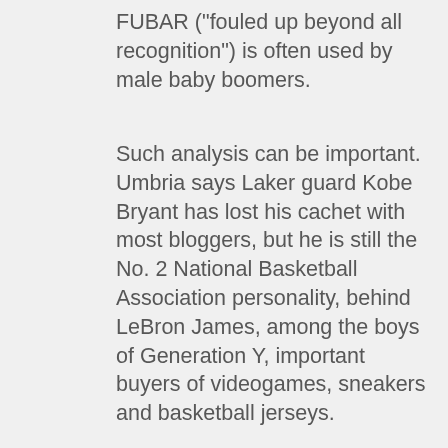FUBAR ("fouled up beyond all recognition") is often used by male baby boomers.
Such analysis can be important. Umbria says Laker guard Kobe Bryant has lost his cachet with most bloggers, but he is still the No. 2 National Basketball Association personality, behind LeBron James, among the boys of Generation Y, important buyers of videogames, sneakers and basketball jerseys.
David Rabjohns, president of blog watcher MotiveQuest, calls the field "online anthropology" and says he regards his firm as "almost a mouthpiece for the consumer." The Evanston., Ill., firm's clients include Motorola Inc. and Citigroup Inc.
For a Japanese auto maker, Mr. Rabjohns says